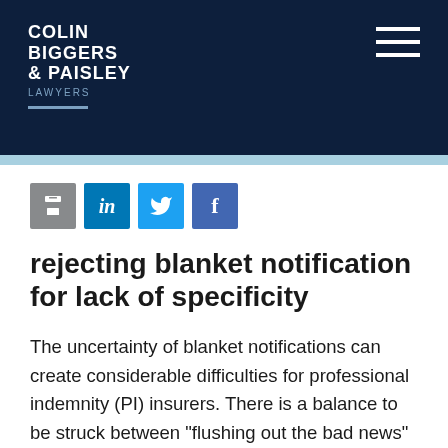Colin Biggers & Paisley Lawyers
[Figure (logo): Colin Biggers & Paisley Lawyers logo on dark navy background with hamburger menu icon]
rejecting blanket notification for lack of specificity
The uncertainty of blanket notifications can create considerable difficulties for professional indemnity (PI) insurers. There is a balance to be struck between "flushing out the bad news" on the one hand and making sure there are appropriate limits placed on what is being notified on the other.